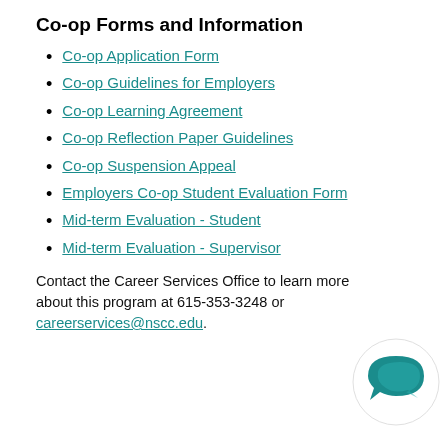Co-op Forms and Information
Co-op Application Form
Co-op Guidelines for Employers
Co-op Learning Agreement
Co-op Reflection Paper Guidelines
Co-op Suspension Appeal
Employers Co-op Student Evaluation Form
Mid-term Evaluation - Student
Mid-term Evaluation - Supervisor
Contact the Career Services Office to learn more about this program at 615-353-3248 or careerservices@nscc.edu.